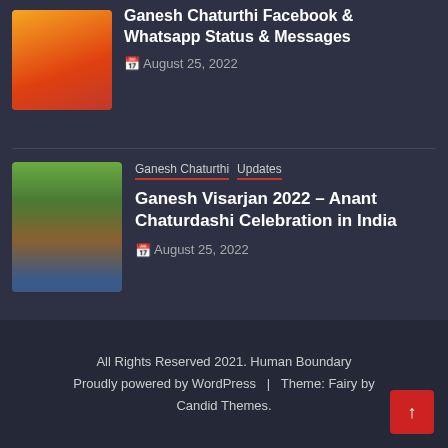[Figure (photo): Thumbnail image for Ganesh Chaturthi article - decorative festive image]
Ganesh Chaturthi Facebook & Whatsapp Status & Messages
August 25, 2022
[Figure (photo): Thumbnail image showing Ganesh Visarjan procession with crowd and large Ganesh idol]
Ganesh Chaturthi  Updates
Ganesh Visarjan 2022 – Anant Chaturdashi Celebration in India
August 25, 2022
All Rights Reserved 2021. Human Boundary Proudly powered by WordPress | Theme: Fairy by Candid Themes.